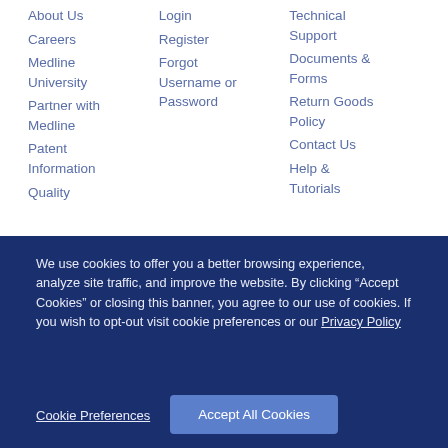About Us
Careers
Medline University
Partner with Medline
Patent Information
Quality
Login
Register
Forgot Username or Password
Technical Support
Documents & Forms
Return Goods Policy
Contact Us
Help & Tutorials
We use cookies to offer you a better browsing experience, analyze site traffic, and improve the website. By clicking “Accept Cookies” or closing this banner, you agree to our use of cookies. If you wish to opt-out visit cookie preferences or our Privacy Policy
Cookie Preferences
Accept All Cookies